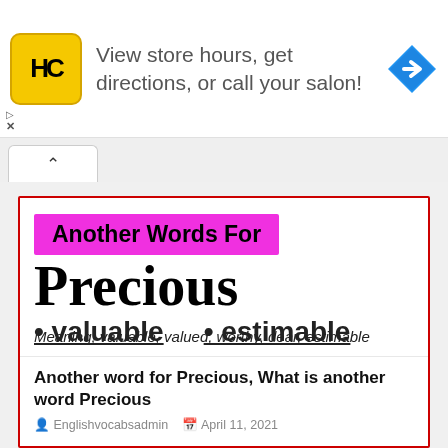[Figure (infographic): Advertisement banner for a hair salon app (HC logo) with text 'View store hours, get directions, or call your salon!' and a blue navigation arrow icon]
Another Words For
Precious
Meaning; valuable, valued, worthy, dear, estimable
• valuable   • estimable
Another word for Precious, What is another word Precious
Englishvocabsadmin   April 11, 2021